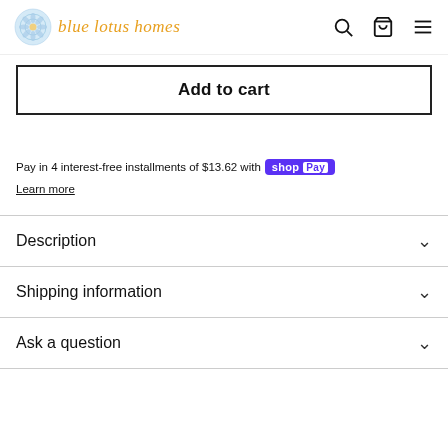blue lotus homes
Add to cart
Pay in 4 interest-free installments of $13.62 with Shop Pay
Learn more
Description
Shipping information
Ask a question